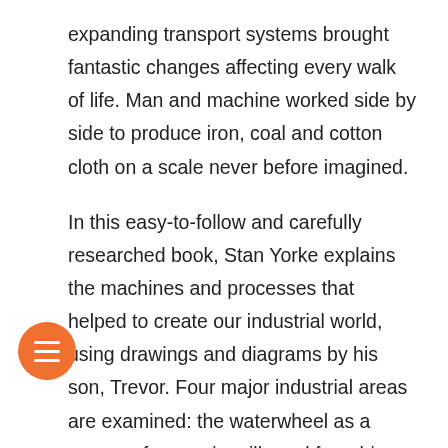expanding transport systems brought fantastic changes affecting every walk of life. Man and machine worked side by side to produce iron, coal and cotton cloth on a scale never before imagined.
In this easy-to-follow and carefully researched book, Stan Yorke explains the machines and processes that helped to create our industrial world, using drawings and diagrams by his son, Trevor. Four major industrial areas are examined: the waterwheel as a source of power in mills and foundries; the steam engine which made power available to a variety of manufacturing industries; the mechanisation of textile production making cloth for all a reality; and iron, which revolutionised high construction and much the